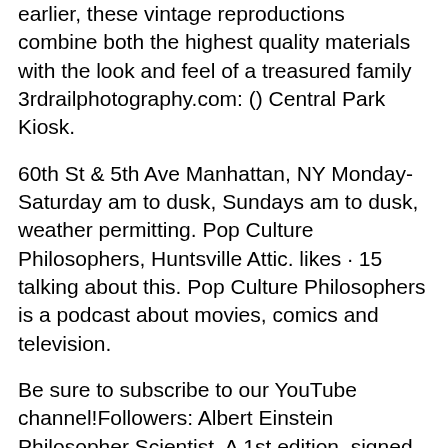earlier, these vintage reproductions combine both the highest quality materials with the look and feel of a treasured family 3rdrailphotography.com: () Central Park Kiosk.
60th St & 5th Ave Manhattan, NY Monday-Saturday am to dusk, Sundays am to dusk, weather permitting. Pop Culture Philosophers, Huntsville Attic. likes · 15 talking about this. Pop Culture Philosophers is a podcast about movies, comics and television.
Be sure to subscribe to our YouTube channel!Followers: Albert Einstein Philosopher Scientist. A 1st edition, signed copy of 'Albert Einstein: Philosopher Scientist hit the scene recently and was fully funded quickly. individual investors paid $ per share for the rare book with Einstein's autograph included on one of the book's pages.
Locate Attic Philosopher Emile Souvestre available to buy here online. Attic Philosopher Emile Souvestre For Sale. An Attic Philosopher In Paris By Emile Souvestre English Hardcover Book Free S.